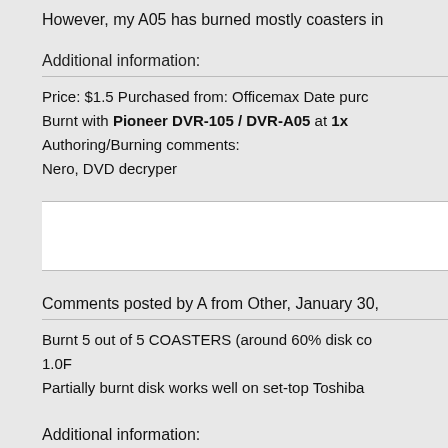However, my A05 has burned mostly coasters in
Additional information:
Price: $1.5 Purchased from: Officemax Date purc
Burnt with Pioneer DVR-105 / DVR-A05 at 1x
Authoring/Burning comments:
Nero, DVD decryper
Comments posted by A from Other, January 30,
Burnt 5 out of 5 COASTERS (around 60% disk co
1.0F
Partially burnt disk works well on set-top Toshiba
Additional information: